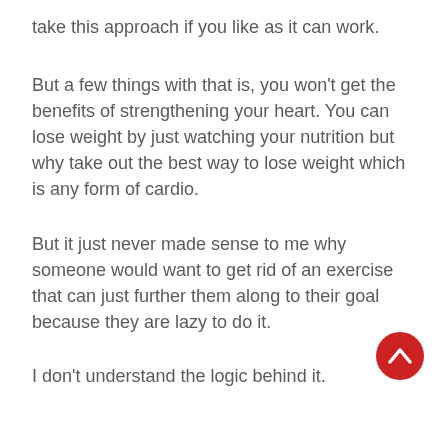take this approach if you like as it can work.
But a few things with that is, you won't get the benefits of strengthening your heart. You can lose weight by just watching your nutrition but why take out the best way to lose weight which is any form of cardio.
But it just never made sense to me why someone would want to get rid of an exercise that can just further them along to their goal because they are lazy to do it.
I don't understand the logic behind it.